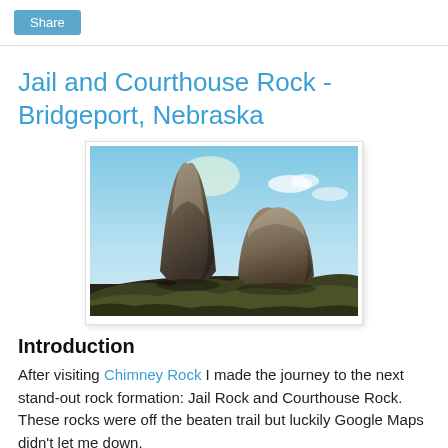Share
Jail and Courthouse Rock - Bridgeport, Nebraska
[Figure (photo): Photo of Jail Rock and Courthouse Rock formations in Bridgeport, Nebraska. Two large rocky buttes rise against a blue sky with sparse clouds, with rolling plains and grass in the foreground.]
Introduction
After visiting Chimney Rock I made the journey to the next stand-out rock formation: Jail Rock and Courthouse Rock. These rocks were off the beaten trail but luckily Google Maps didn't let me down.